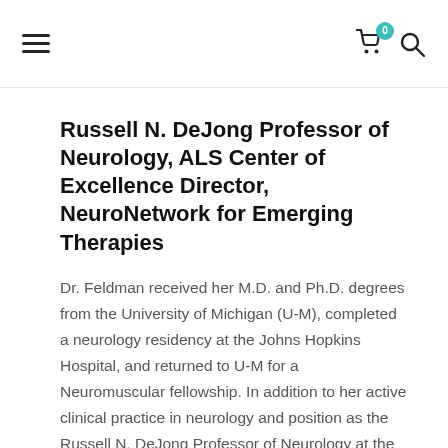Navigation header with hamburger menu, cart icon with badge 0, and search icon
Russell N. DeJong Professor of Neurology, ALS Center of Excellence Director, NeuroNetwork for Emerging Therapies
Dr. Feldman received her M.D. and Ph.D. degrees from the University of Michigan (U-M), completed a neurology residency at the Johns Hopkins Hospital, and returned to U-M for a Neuromuscular fellowship. In addition to her active clinical practice in neurology and position as the Russell N. DeJong Professor of Neurology at the U-M Medical School, Dr. Feldman directed the A. Alfred Taubman Medical Research Institute until 2017, and is